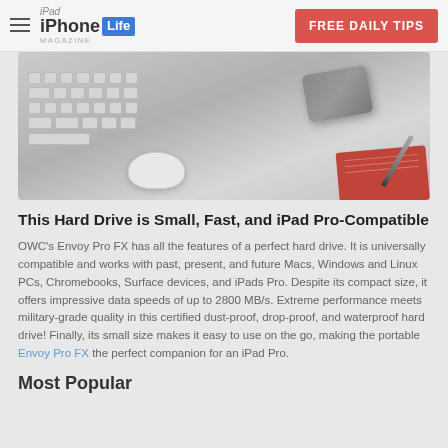iPhone Life Magazine | FREE DAILY TIPS
[Figure (photo): Photo of a desk with Apple Magic Keyboard, Apple Magic Mouse, a portable hard drive, a red notebook and pen on a grey surface]
This Hard Drive is Small, Fast, and iPad Pro-Compatible
OWC's Envoy Pro FX has all the features of a perfect hard drive. It is universally compatible and works with past, present, and future Macs, Windows and Linux PCs, Chromebooks, Surface devices, and iPads Pro. Despite its compact size, it offers impressive data speeds of up to 2800 MB/s. Extreme performance meets military-grade quality in this certified dust-proof, drop-proof, and waterproof hard drive! Finally, its small size makes it easy to use on the go, making the portable Envoy Pro FX the perfect companion for an iPad Pro.
Most Popular